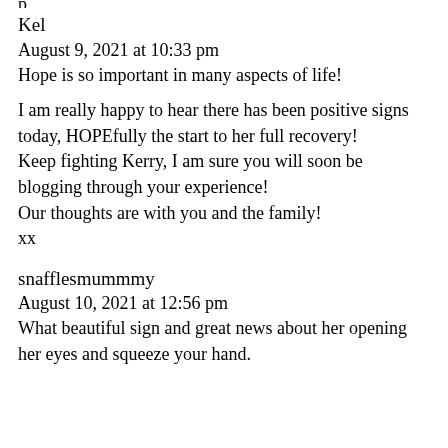Kel
August 9, 2021 at 10:33 pm
Hope is so important in many aspects of life! I am really happy to hear there has been positive signs today, HOPEfully the start to her full recovery! Keep fighting Kerry, I am sure you will soon be blogging through your experience! Our thoughts are with you and the family! xx
snafflesmummmy
August 10, 2021 at 12:56 pm
What beautiful sign and great news about her opening her eyes and squeeze your hand.